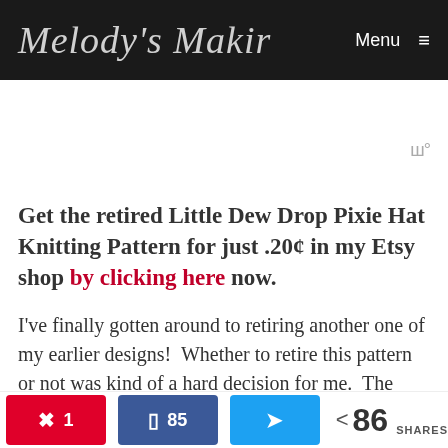Melody's Makir Menu
Get the retired Little Dew Drop Pixie Hat Knitting Pattern for just .20¢ in my Etsy shop by clicking here now.
I've finally gotten around to retiring another one of my earlier designs!  Whether to retire this pattern or not was kind of a hard decision for me.  The Little Dew Drop Pixie Hat has
1  85  86 SHARES